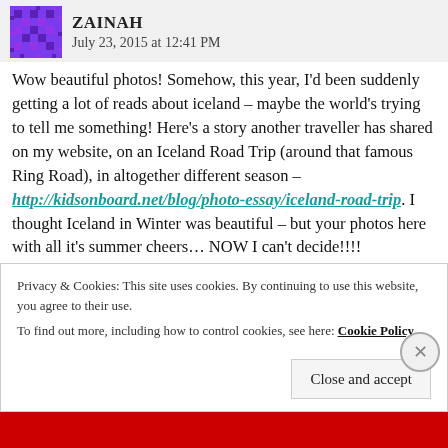July 23, 2015 at 12:41 PM
Wow beautiful photos! Somehow, this year, I'd been suddenly getting a lot of reads about iceland – maybe the world's trying to tell me something! Here's a story another traveller has shared on my website, on an Iceland Road Trip (around that famous Ring Road), in altogether different season – http://kidsonboard.net/blog/photo-essay/iceland-road-trip. I thought Iceland in Winter was beautiful – but your photos here with all it's summer cheers… NOW I can't decide!!!!
Privacy & Cookies: This site uses cookies. By continuing to use this website, you agree to their use.
To find out more, including how to control cookies, see here: Cookie Policy